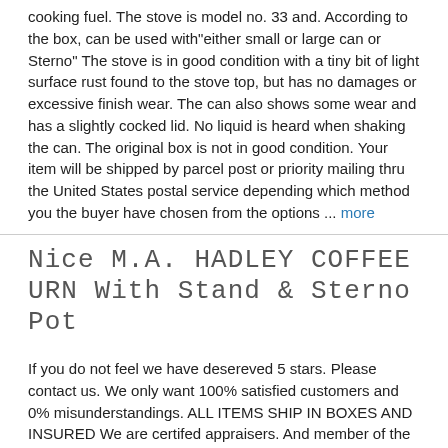cooking fuel. The stove is model no. 33 and. According to the box, can be used with"either small or large can or Sterno" The stove is in good condition with a tiny bit of light surface rust found to the stove top, but has no damages or excessive finish wear. The can also shows some wear and has a slightly cocked lid. No liquid is heard when shaking the can. The original box is not in good condition. Your item will be shipped by parcel post or priority mailing thru the United States postal service depending which method you the buyer have chosen from the options ... more
Nice M.A. HADLEY COFFEE URN With Stand & Sterno Pot
If you do not feel we have desereved 5 stars. Please contact us. We only want 100% satisfied customers and 0% misunderstandings. ALL ITEMS SHIP IN BOXES AND INSURED We are certifed appraisers. And member of the Certified Appraisers Guild of America(CAGA) Nice M.A. HADLEY COFFEE URN With Stand& Sterno Pot Urn: 11.25 inches x 10.5 inches x 10 inches Stand: 6.75 inches in diameter x 4.25 inches tall Sterno Pot: 6.5 inches x 4.5 inches x 2 inches Very nice coffee urn with lid and house decoration. Very Good Condition.there is an. As made, fault to the handle of the sterno pot. As pictured.else very nice. RARE! WE SHIP EVERY WEEKDAY Terms and Conditions If this auction is listed as a Buy It Now or Make an offer. Please note the following: We are NOT able to negociate shipping cost or method. we can upgrade the shipping method at your expense ... more
VINTAGE STERNO GLASS MEAT PLATTER DOUBLE CANDLE